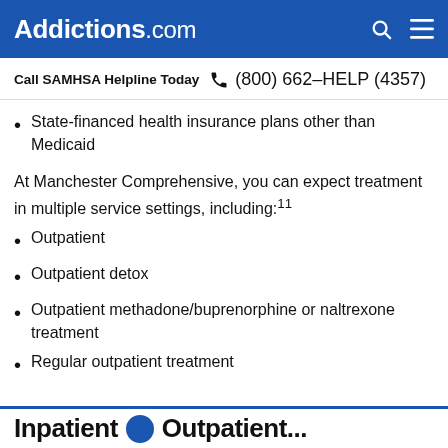Addictions.com
Call SAMHSA Helpline Today  (800) 662-HELP (4357)
State-financed health insurance plans other than Medicaid
At Manchester Comprehensive, you can expect treatment in multiple service settings, including:[11]
Outpatient
Outpatient detox
Outpatient methadone/buprenorphine or naltrexone treatment
Regular outpatient treatment
Inpatient Outpatient...